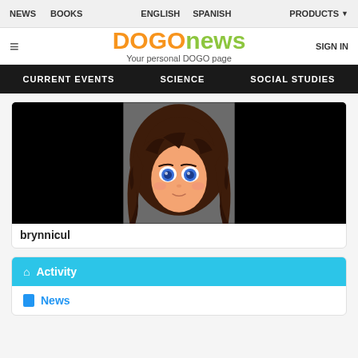NEWS  BOOKS  ENGLISH  SPANISH  PRODUCTS
DOGOnews - Your personal DOGO page
CURRENT EVENTS  SCIENCE  SOCIAL STUDIES
[Figure (illustration): Anime-style avatar of a girl with long dark wavy hair, blue eyes, on a dark background]
brynnicul
Activity
News